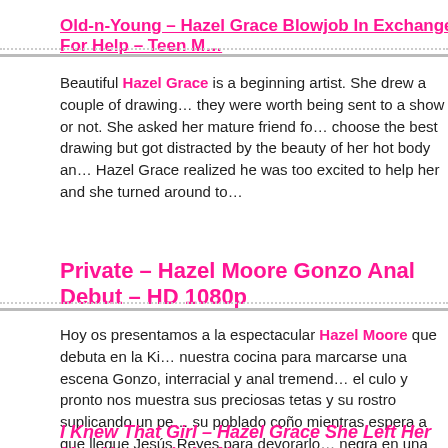Old-n-Young – Hazel Grace Blowjob In Exchange For Help – Teen M…
Beautiful Hazel Grace is a beginning artist. She drew a couple of drawings and wanted to find out if they were worth being sent to a show or not. She asked her mature friend fo… choose the best drawing but got distracted by the beauty of her hot body an… Hazel Grace realized he was too excited to help her and she turned around to…
Private – Hazel Moore Gonzo Anal Debut – HD 1080p
Hoy os presentamos a la espectacular Hazel Moore que debuta en la Ki… nuestra cocina para marcarse una escena Gonzo, interracial y anal tremend… el culo y pronto nos muestra sus preciosas tetas y su rostro suplicando un pe… su poblado coño mientras espera a que llegue Jesús Reyes para devorarlo… negra en una mamada de arcada para en seguida ofrecerle su culo perfec… una escena de casi una hora que culminará con una corrida facial.
I Knew That Girl – Hazel Grace She Left Her Man Unguarded – M…